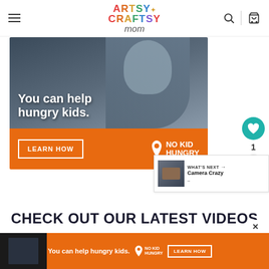Artsy Craftsy Mom
[Figure (photo): No Kid Hungry advertisement showing a child with text 'You can help hungry kids.' and a LEARN HOW button]
1
WHAT'S NEXT → Camera Crazy
CHECK OUT OUR LATEST VIDEOS
[Figure (screenshot): Bottom advertisement banner: 'You can help hungry kids.' with No Kid Hungry logo and LEARN HOW button]